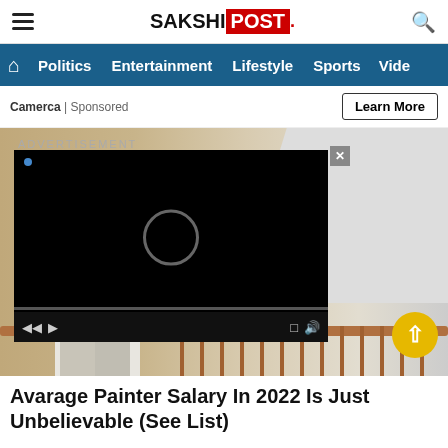SAKSHI POST
Politics  Entertainment  Lifestyle  Sports  Vide
Camerca | Sponsored
Learn More
[Figure (screenshot): Video player overlay showing a black screen with a loading circle icon, progress bar, and playback controls. Behind it is a background image of a person painting a wall white.]
Avarage Painter Salary In 2022 Is Just Unbelievable (See List)